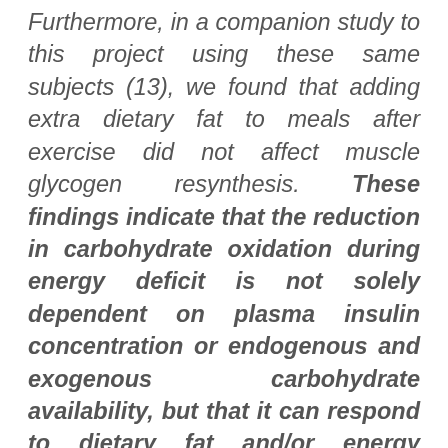Furthermore, in a companion study to this project using these same subjects (13), we found that adding extra dietary fat to meals after exercise did not affect muscle glycogen resynthesis. These findings indicate that the reduction in carbohydrate oxidation during energy deficit is not solely dependent on plasma insulin concentration or endogenous and exogenous carbohydrate availability, but that it can respond to dietary fat and/or energy availability, per se.